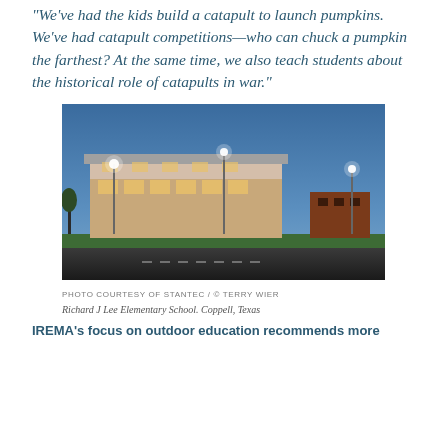“We’ve had the kids build a catapult to launch pumpkins. We’ve had catapult competitions—who can chuck a pumpkin the farthest? At the same time, we also teach students about the historical role of catapults in war.”
[Figure (photo): Exterior night photograph of Richard J Lee Elementary School, Coppell, Texas. Modern school building lit from inside with warm lighting, against a blue dusk sky, with green lawn and parking lot in foreground.]
PHOTO COURTESY OF STANTEC / © TERRY WIER
Richard J Lee Elementary School. Coppell, Texas
IREMA’s focus on outdoor education recommends more